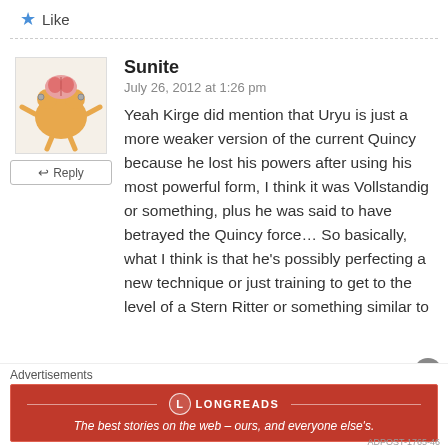★ Like
Sunite
July 26, 2012 at 1:26 pm
Yeah Kirge did mention that Uryu is just a more weaker version of the current Quincy because he lost his powers after using his most powerful form, I think it was Vollstandig or something, plus he was said to have betrayed the Quincy force… So basically, what I think is that he's possibly perfecting a new technique or just training to get to the level of a Stern Ritter or something similar to that.
Advertisements
[Figure (other): Longreads advertisement banner: red background with logo and tagline 'The best stories on the web – ours, and everyone else's.']